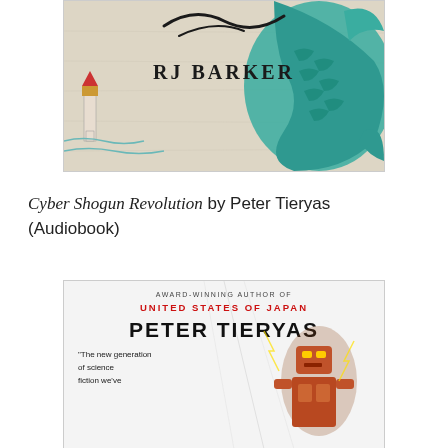[Figure (illustration): Book cover of a fantasy novel by RJ Barker featuring a sea creature with teal/green scales, a lighthouse on the left, and text 'RJ BARKER' in the center on a parchment-like background.]
Cyber Shogun Revolution by Peter Tieryas (Audiobook)
[Figure (illustration): Audiobook cover for 'Cyber Shogun Revolution' by Peter Tieryas. Text reads 'AWARD-WINNING AUTHOR OF UNITED STATES OF JAPAN' and 'PETER TIERYAS'. Quote: 'The new generation of science fiction we've'. Shows robotic figures on the right side with lightning effects.]